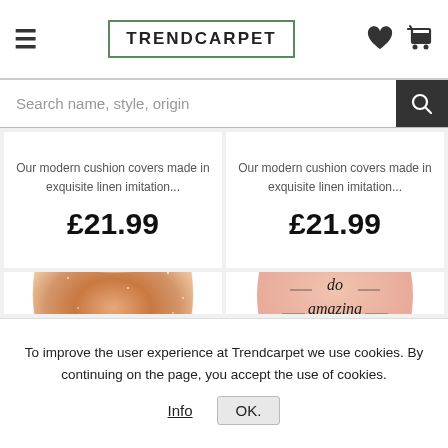TRENDCARPET
Search name, style, origin
Our modern cushion covers made in exquisite linen imitation... £21.99
Our modern cushion covers made in exquisite linen imitation... £21.99
[Figure (photo): Rose gold glitter cushion cover on white background]
[Figure (photo): Pink cushion cover with cursive text 'do amazing things' on white background]
To improve the user experience at Trendcarpet we use cookies. By continuing on the page, you accept the use of cookies.
Info    OK.